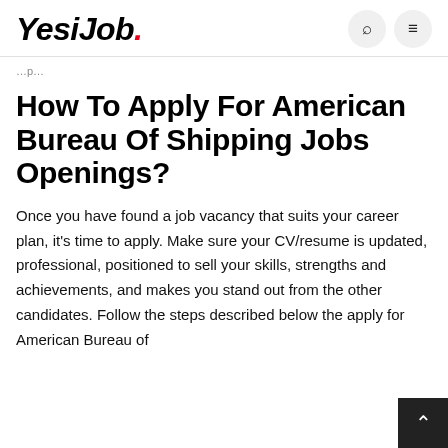YesiJob.
…p…
How To Apply For American Bureau Of Shipping Jobs Openings?
Once you have found a job vacancy that suits your career plan, it's time to apply. Make sure your CV/resume is updated, professional, positioned to sell your skills, strengths and achievements, and makes you stand out from the other candidates. Follow the steps described below the apply for American Bureau of Shipping…